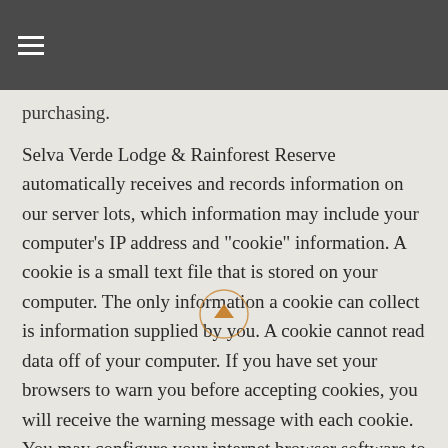≡
purchasing.
Selva Verde Lodge & Rainforest Reserve automatically receives and records information on our server lots, which information may include your computer's IP address and "cookie" information. A cookie is a small text file that is stored on your computer. The only information a cookie can collect is information supplied by you. A cookie cannot read data off of your computer. If you have set your browsers to warn you before accepting cookies, you will receive the warning message with each cookie. You may configure your internet browser software to disable cookies, though your ability to access some web pages may be affected.